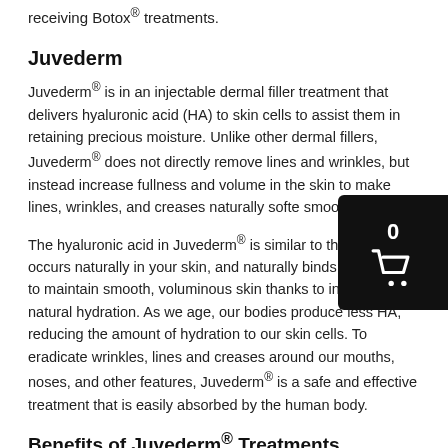receiving Botox® treatments.
Juvederm
Juvederm® is in an injectable dermal filler treatment that delivers hyaluronic acid (HA) to skin cells to assist them in retaining precious moisture. Unlike other dermal fillers, Juvederm® does not directly remove lines and wrinkles, but instead increase fullness and volume in the skin to make lines, wrinkles, and creases naturally soften and smooth out.
The hyaluronic acid in Juvederm® is similar to that which occurs naturally in your skin, and naturally binds with water to maintain smooth, voluminous skin thanks to increased natural hydration. As we age, our bodies produce less HA, reducing the amount of hydration to our skin cells. To eradicate wrinkles, lines and creases around our mouths, noses, and other features, Juvederm® is a safe and effective treatment that is easily absorbed by the human body.
Benefits of Juvederm® Treatments
Juvederm® is a safe and effective injectable treatment that to reduce the visible appearance of wrinkles, lines, creases and other signs of